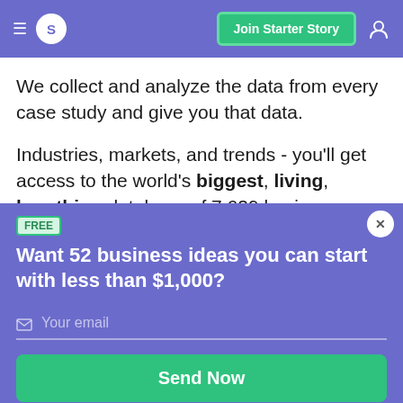S  Join Starter Story
We collect and analyze the data from every case study and give you that data.
Industries, markets, and trends - you’ll get access to the world’s biggest, living, breathing database of 7,629 business ideas, side...
FREE
Want 52 business ideas you can start with less than $1,000?
Your email
Send Now